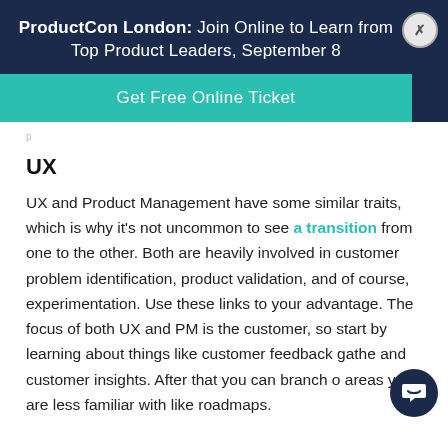ProductCon London: Join Online to Learn from Top Product Leaders, September 8
Get Free Online Ticket
UX
UX and Product Management have some similar traits, which is why it's not uncommon to see a transition from one to the other. Both are heavily involved in customer problem identification, product validation, and of course, experimentation. Use these links to your advantage. The focus of both UX and PM is the customer, so start by learning about things like customer feedback gathe and customer insights. After that you can branch o areas you are less familiar with like roadmaps.